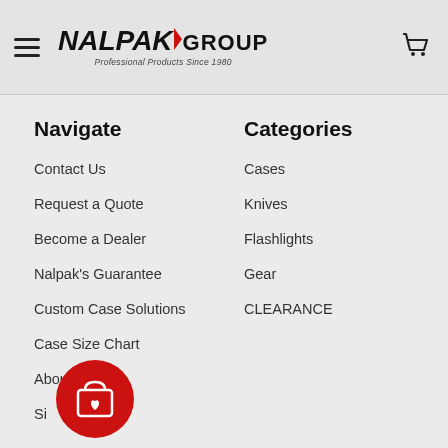Nalpak Group — Professional Products Since 1980
Navigate
Contact Us
Request a Quote
Become a Dealer
Nalpak's Guarantee
Custom Case Solutions
Case Size Chart
About Us
Si[te Map / Sign In (partially obscured)]
Categories
Cases
Knives
Flashlights
Gear
CLEARANCE
[Figure (illustration): Red circular floating action button with shopping bag and heart icon]